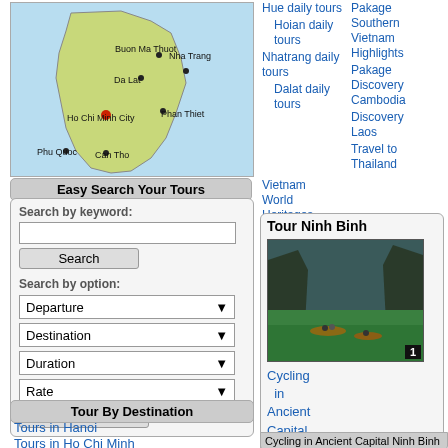[Figure (map): Map of southern Vietnam showing cities: Buon Ma Thuot, Nha Trang, Da Lat, Ho Chi Minh City, Phan Thiet, Phu Quoc, Can Tho. Yellow highlighted region indicating southern Vietnam tour area.]
Easy Search Your Tours
Search by keyword:
Search
Search by option:
Departure
Destination
Duration
Rate
Submit
Tour By Destination
Tours in Hanoi
Tours in Ho Chi Minh
Tours in Ha Long
Tours in Hoi An
Hue daily tours
Hoian daily tours
Nhatrang daily tours
Dalat daily tours
Pakage Southern Vietnam Highlights
Pakage Discovery Cambodia
Pakage Discovery Laos
Travel to Thailand
Vietnam World Heritages tours
Vietnam Veterans
Tour Ninh Binh
[Figure (photo): Photo of boats on a river surrounded by limestone cliffs and green water at Ninh Binh, Vietnam]
Cycling in Ancient Capital - Ninh Binh Tour
Cycling in Ancient Capital Ninh Binh